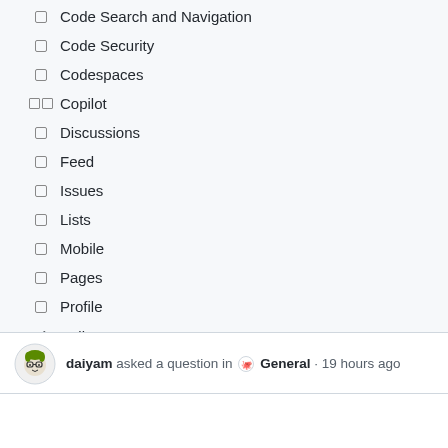Code Search and Navigation
Code Security
Codespaces
Copilot
Discussions
Feed
Issues
Lists
Mobile
Pages
Profile
Pull Requests
daiyam asked a question in General · 19 hours ago